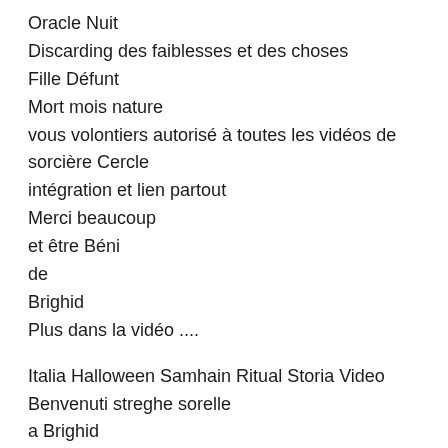Oracle Nuit
Discarding des faiblesses et des choses
Fille Défunt
Mort mois nature
vous volontiers autorisé à toutes les vidéos de sorcière Cercle
intégration et lien partout
Merci beaucoup
et être Béni
de
Brighid
Plus dans la vidéo ....
Italia Halloween Samhain Ritual Storia Video
Benvenuti streghe sorelle
a Brighid
informazioni streghe
da parte di
Hexenzauber.org